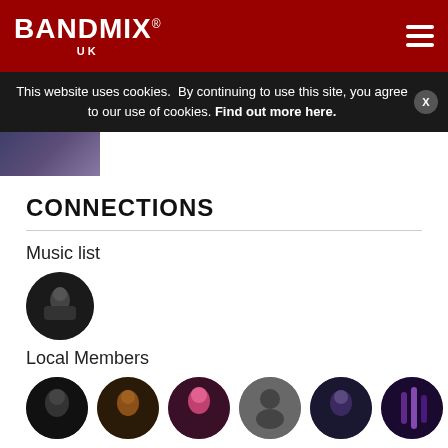BANDMIX UK
This website uses cookies. By continuing to use this site, you agree to our use of cookies. Find out more here.
[Figure (photo): Partial thumbnail image visible at top]
CONNECTIONS
Music list
[Figure (photo): Circular avatar photo of drummer in dark setting]
Local Members
[Figure (photo): Row of six circular avatar photos: drummer (b&w), guitarist (warm tones), girl with red hair, silhouette placeholder, guitarist (blue tones), lights (purple tones)]